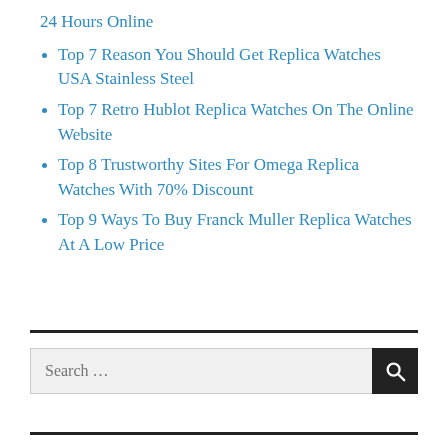24 Hours Online
Top 7 Reason You Should Get Replica Watches USA Stainless Steel
Top 7 Retro Hublot Replica Watches On The Online Website
Top 8 Trustworthy Sites For Omega Replica Watches With 70% Discount
Top 9 Ways To Buy Franck Muller Replica Watches At A Low Price